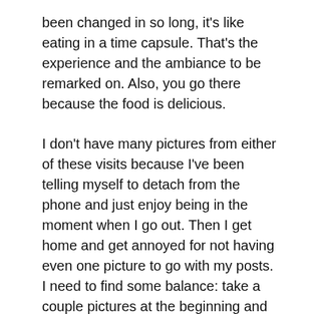been changed in so long, it's like eating in a time capsule. That's the experience and the ambiance to be remarked on. Also, you go there because the food is delicious.
I don't have many pictures from either of these visits because I've been telling myself to detach from the phone and just enjoy being in the moment when I go out. Then I get home and get annoyed for not having even one picture to go with my posts. I need to find some balance: take a couple pictures at the beginning and then put it away. Next time I guess.